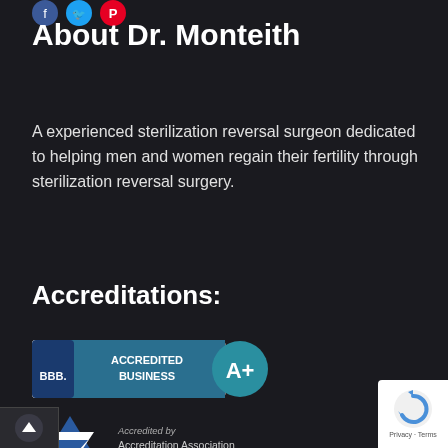[Figure (illustration): Social media icons (Facebook, Twitter, Pinterest) partially visible at top]
About Dr. Monteith
A experienced sterilization reversal surgeon dedicated to helping men and women regain their fertility through sterilization reversal surgery.
Accreditations:
[Figure (logo): BBB Accredited Business A+ badge]
[Figure (logo): Accreditation Association for Ambulatory Health Care, Inc. logo with triangle symbol. Text: Accredited by / Accreditation Association / for Ambulatory Health Care, Inc.]
[Figure (other): Google reCAPTCHA badge with Privacy and Terms links]
[Figure (other): Back to top arrow button]